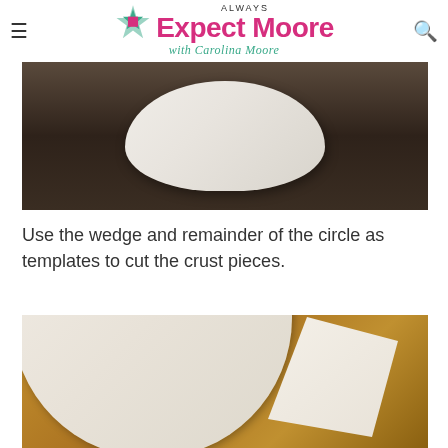Always Expect Moore with Carolina Moore
[Figure (photo): Photo of a white pillow or stuffed fabric piece on a dark brown wooden surface, viewed from above at an angle]
Use the wedge and remainder of the circle as templates to cut the crust pieces.
[Figure (photo): Photo of white fabric circle and wedge-shaped piece laid out on a golden-brown fabric background, showing templates for cutting crust pieces]